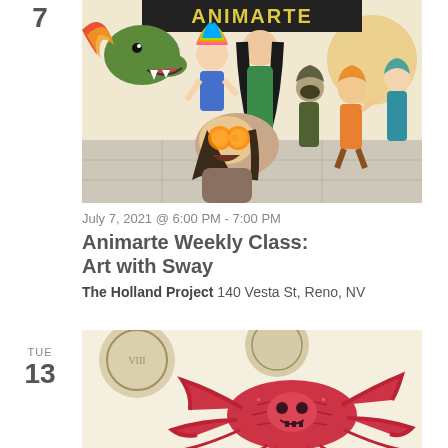7
[Figure (illustration): Animarte Weekly Class illustration showing cartoon characters including a dinosaur, colorful-haired figures, and a character with orange goggles in the foreground, with 'ANIMARTE' text at the top]
July 7, 2021 @ 6:00 PM - 7:00 PM
Animarte Weekly Class: Art with Sway
The Holland Project 140 Vesta St, Reno, NV
TUE
13
[Figure (illustration): Illustration showing a pink/red crab-like creature with detailed linework against a light background with circular coin-like objects]